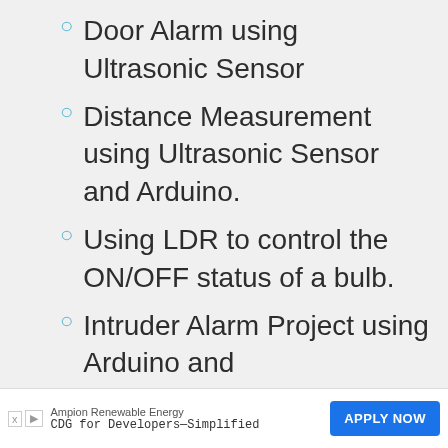Door Alarm using Ultrasonic Sensor
Distance Measurement using Ultrasonic Sensor and Arduino.
Using LDR to control the ON/OFF status of a bulb.
Intruder Alarm Project using Arduino and
Ampion Renewable Energy CDG for Developers—Simplified APPLY NOW